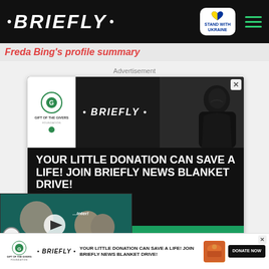• BRIEFLY • [Stand With Ukraine badge] [hamburger menu]
Freda Bing's profile summary
Advertisement
[Figure (screenshot): Advertisement banner featuring Gift of the Givers Foundation and Briefly News logos with a person in hoodie, text: YOUR LITTLE DONATION CAN SAVE A LIFE! JOIN BRIEFLY NEWS BLANKET DRIVE!, and a DONATE NOW button on green background]
[Figure (screenshot): Video thumbnail showing two people, with label DID HE DATE A MINOR? and a play button]
[Figure (screenshot): Bottom sticky advertisement bar with Gift of the Givers and Briefly logos, text: YOUR LITTLE DONATION CAN SAVE A LIFE! JOIN BRIEFLY NEWS BLANKET DRIVE!, image of blanket/hat, and DONATE NOW button]